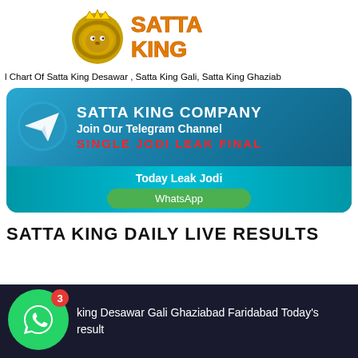[Figure (logo): Satta King logo with lion wearing crown and orange stylized text 'SATTA KING']
l Chart Of Satta King Desawar , Satta King Gali, Satta King Ghaziab
[Figure (infographic): Telegram channel banner with Telegram icon, text 'SATTA KING COMPANY Join Our Telegram Channel SINGLE JODI LEAK FINAL', and below 'Today Leak Jodi' with a WhatsApp button]
SATTA KING DAILY LIVE RESULTS
[Figure (infographic): Dark bottom bar with WhatsApp floating button (green circle with phone icon and badge showing 3) and text 'king Desawar Gali Ghaziabad Faridabad Today's result']